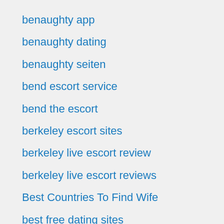benaughty app
benaughty dating
benaughty seiten
bend escort service
bend the escort
berkeley escort sites
berkeley live escort review
berkeley live escort reviews
Best Countries To Find Wife
best free dating sites
best payday loan
best payday loans
best paydayloan
bestbrides.org The Best Online Dating Site